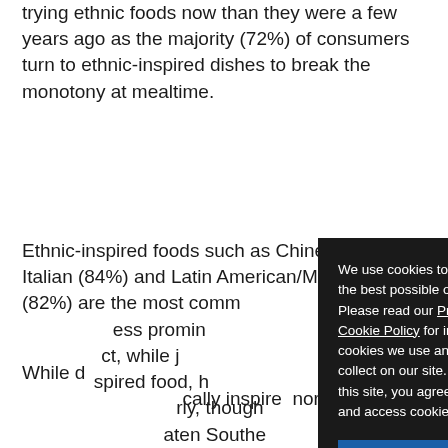trying ethnic foods now than they were a few years ago as the majority (72%) of consumers turn to ethnic-inspired dishes to break the monotony at mealtime.
Ethnic-inspired foods such as Chinese (89%), Italian (84%) and Latin American/Mexican (82%) are the most commonly consumed, while others are less prominently featured. Japanese foods attract, while just over a half eat any other ethnic-inspired food, Korean and Indian cuisine are particularly, though only a in five Americans have eaten Southeast Asian cuisine, and only a in five eating a Southeast Asian food.
While consumers are open to trying new ethnic foods, they are typically inspired minority of
[Figure (other): Cookie consent overlay popup with dark background. Text reads: 'We use cookies to help provide you with the best possible online experience. Please read our Privacy Policy and Cookie Policy for information about which cookies we use and what information we collect on our site. By continuing to use this site, you agree that we may store and access cookies on your device.' Button labeled 'I AGREE' in blue.]